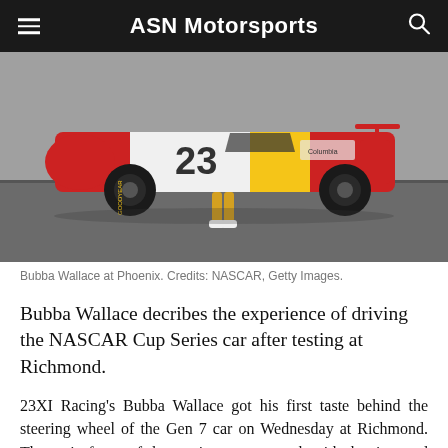ASN Motorsports
[Figure (photo): Bubba Wallace standing next to the NASCAR Cup Series car number 23 with red, white, and yellow livery, photographed at Phoenix on asphalt track.]
Bubba Wallace at Phoenix. Credits: NASCAR, Getty Images.
Bubba Wallace decribes the experience of driving the NASCAR Cup Series car after testing at Richmond.
23XI Racing's Bubba Wallace got his first taste behind the steering wheel of the Gen 7 car on Wednesday at Richmond. The main focus of the session was to work with the tires and conditions of the drivers inside the cockpit. After the testing session, Wallace shared his thoughts about the car itself.